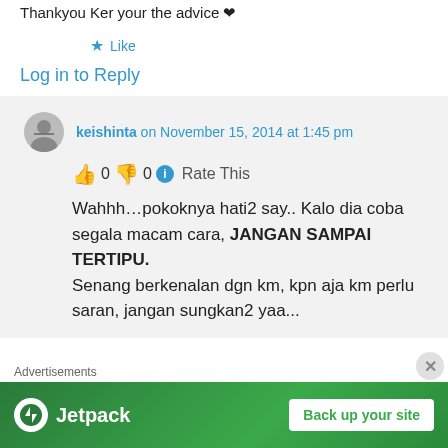Thankyou Ker your the advice ❤
★ Like
Log in to Reply
keishinta on November 15, 2014 at 1:45 pm
👍 0 👎 0 ℹ Rate This
Wahhh…pokoknya hati2 say.. Kalo dia coba segala macam cara, JANGAN SAMPAI TERTIPU.
Senang berkenalan dgn km, kpn aja km perlu saran, jangan sungkan2 yaa...
Advertisements
[Figure (screenshot): Jetpack advertisement banner with 'Back up your site' button on green background]